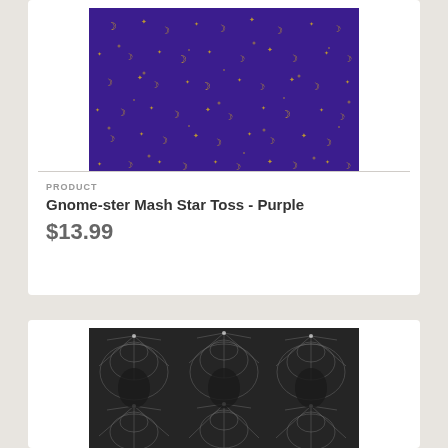[Figure (photo): Purple fabric with gold crescent moons and stars pattern - Gnome-ster Mash Star Toss Purple]
PRODUCT
Gnome-ster Mash Star Toss - Purple
$13.99
[Figure (photo): Dark grey/black fabric with spider web pattern]